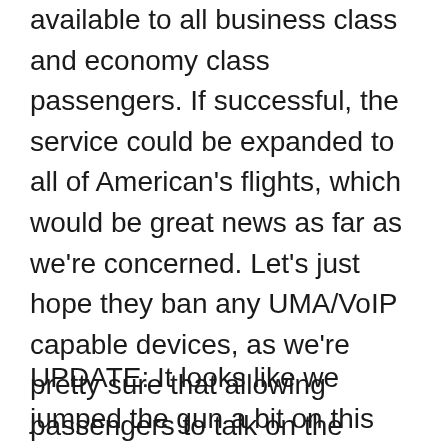available to all business class and economy class passengers. If successful, the service could be expanded to all of American's flights, which would be great news as far as we're concerned. Let's just hope they ban any UMA/VoIP capable devices, as we're pretty sure that allowing passengers to talk on the phone in-flight could lead to an increase in in-flight homicides...But it does look like JetBlue has the right idea.
UPDATE: It looks like we jumped the gun a bit on this one. Aircell has informed us that this